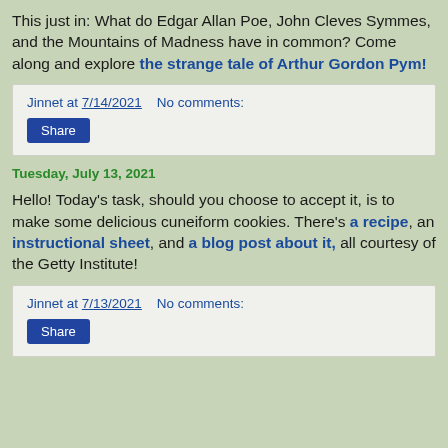This just in: What do Edgar Allan Poe, John Cleves Symmes, and the Mountains of Madness have in common? Come along and explore the strange tale of Arthur Gordon Pym!
Jinnet at 7/14/2021   No comments:
Tuesday, July 13, 2021
Hello! Today's task, should you choose to accept it, is to make some delicious cuneiform cookies. There's a recipe, an instructional sheet, and a blog post about it, all courtesy of the Getty Institute!
Jinnet at 7/13/2021   No comments: